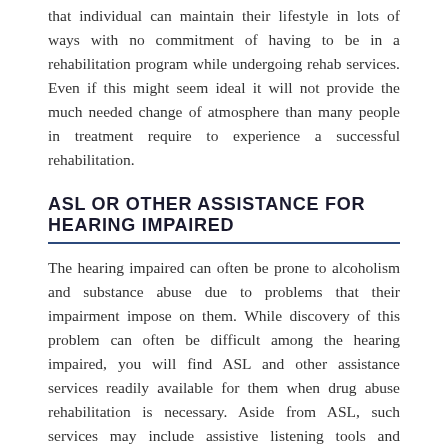that individual can maintain their lifestyle in lots of ways with no commitment of having to be in a rehabilitation program while undergoing rehab services. Even if this might seem ideal it will not provide the much needed change of atmosphere than many people in treatment require to experience a successful rehabilitation.
ASL OR OTHER ASSISTANCE FOR HEARING IMPAIRED
The hearing impaired can often be prone to alcoholism and substance abuse due to problems that their impairment impose on them. While discovery of this problem can often be difficult among the hearing impaired, you will find ASL and other assistance services readily available for them when drug abuse rehabilitation is necessary. Aside from ASL, such services may include assistive listening tools and captioned video resources to ensure that deaf and hearing impaired people are obtaining the support they require in drug rehab.
SELF PAYMENT
Self Payment is necessary when someone's insurance isn't